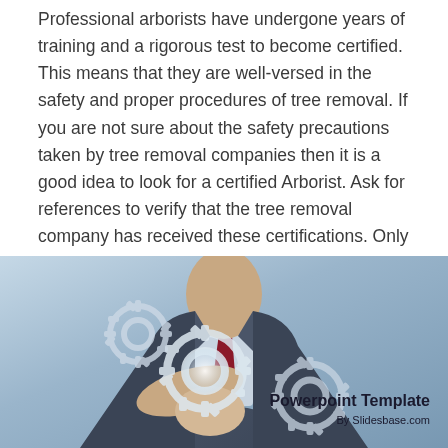Professional arborists have undergone years of training and a rigorous test to become certified. This means that they are well-versed in the safety and proper procedures of tree removal. If you are not sure about the safety precautions taken by tree removal companies then it is a good idea to look for a certified Arborist. Ask for references to verify that the tree removal company has received these certifications. Only a certified arborist can provide the best service.
[Figure (photo): Photo of a businessman in a suit with a red tie holding glowing gear/cog icons. Text overlay reads 'Powerpoint Template' and 'By Slidesbase.com'. Blue-gray gradient background.]